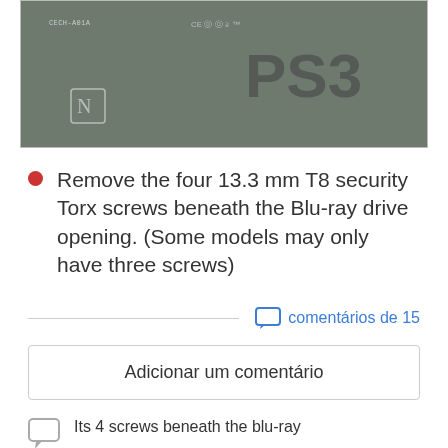[Figure (photo): Bottom of a PS3 console showing regulatory labels, model number CECH-A01A, CE/FCC certification marks, and PS3 logo on dark grey surface]
Remove the four 13.3 mm T8 security Torx screws beneath the Blu-ray drive opening. (Some models may only have three screws)
comentários de 15
Adicionar um comentário
Its 4 screws beneath the blu-ray
Manuel - 27 de mai de 2012    Responder